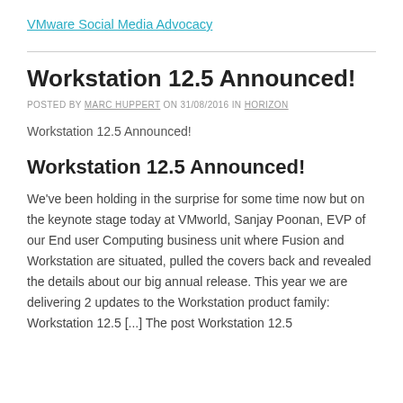VMware Social Media Advocacy
Workstation 12.5 Announced!
POSTED BY MARC HUPPERT ON 31/08/2016 IN HORIZON
Workstation 12.5 Announced!
Workstation 12.5 Announced!
We've been holding in the surprise for some time now but on the keynote stage today at VMworld, Sanjay Poonan, EVP of our End user Computing business unit where Fusion and Workstation are situated, pulled the covers back and revealed the details about our big annual release. This year we are delivering 2 updates to the Workstation product family: Workstation 12.5 [...] The post Workstation 12.5